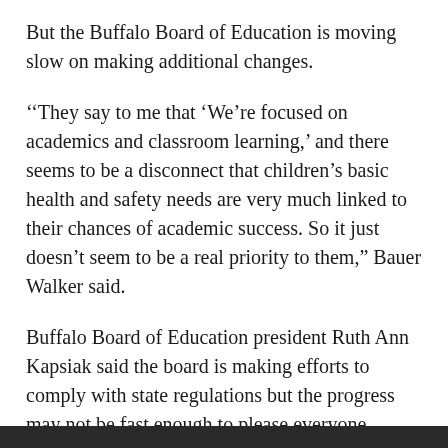But the Buffalo Board of Education is moving slow on making additional changes.
''They say to me that ‘We’re focused on academics and classroom learning,’ and there seems to be a disconnect that children’s basic health and safety needs are very much linked to their chances of academic success. So it just doesn’t seem to be a real priority to them,” Bauer Walker said.
Buffalo Board of Education president Ruth Ann Kapsiak said the board is making efforts to comply with state regulations but the progress may not be fast enough to please everyone.